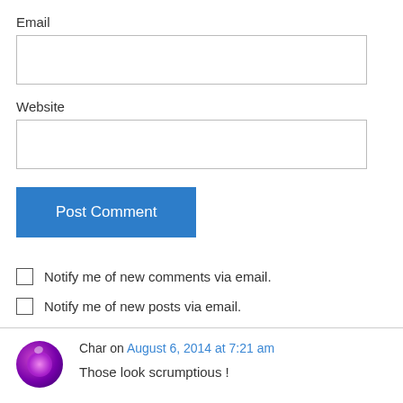Email
[Figure (screenshot): Empty text input box for Email field]
Website
[Figure (screenshot): Empty text input box for Website field]
Post Comment
Notify me of new comments via email.
Notify me of new posts via email.
Char on August 6, 2014 at 7:21 am
Those look scrumptious !